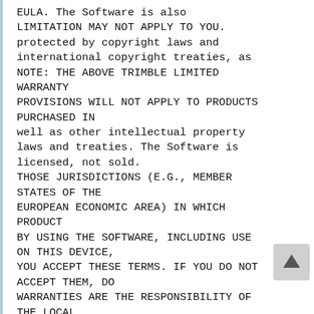EULA. The Software is also LIMITATION MAY NOT APPLY TO YOU. protected by copyright laws and international copyright treaties, as NOTE: THE ABOVE TRIMBLE LIMITED WARRANTY PROVISIONS WILL NOT APPLY TO PRODUCTS PURCHASED IN well as other intellectual property laws and treaties. The Software is licensed, not sold. THOSE JURISDICTIONS (E.G., MEMBER STATES OF THE EUROPEAN ECONOMIC AREA) IN WHICH PRODUCT BY USING THE SOFTWARE, INCLUDING USE ON THIS DEVICE, YOU ACCEPT THESE TERMS. IF YOU DO NOT ACCEPT THEM, DO WARRANTIES ARE THE RESPONSIBILITY OF THE LOCAL DEALER FROM WHOM THE PRODUCTS ARE